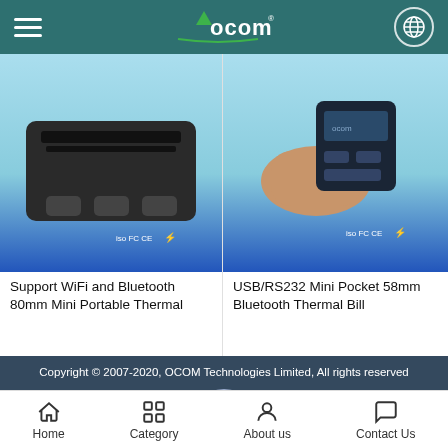OCOM - navigation header with hamburger menu, OCOM logo, globe icon
[Figure (photo): Product image: 80mm Mini Portable Thermal Printer with WiFi and Bluetooth support. Dark colored printer shown from front with buttons. ISO FC CE certification badges visible.]
Support WiFi and Bluetooth 80mm Mini Portable Thermal
[Figure (photo): Product image: USB/RS232 Mini Pocket 58mm Bluetooth Thermal Bill printer being held in hand. Small black device with blue buttons. ISO FC CE certification badges visible.]
USB/RS232 Mini Pocket 58mm Bluetooth Thermal Bill
Copyright © 2007-2020, OCOM Technologies Limited, All rights reserved
[Figure (other): Blue circular TOP button with upward arrow pointing to top of page]
51La
Home | Category | About us | Contact Us